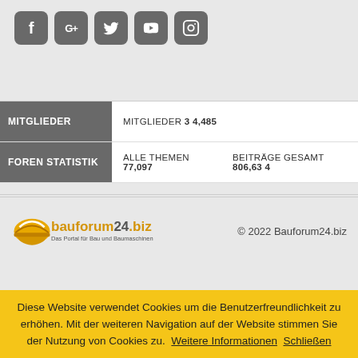[Figure (other): Five social media icon buttons: Facebook (f), Google+ (G+), Twitter (bird), YouTube (play button), Instagram (camera outline), all dark grey rounded square buttons]
| MITGLIEDER | MITGLIEDER 34,485 |
| FOREN STATISTIK | ALLE THEMEN 77,097    BEITRÄGE GESAMT 806,634 |
[Figure (logo): bauforum24.biz logo with yellow hard hat helmet and orange/brown text. Tagline: Das Portal für Bau und Baumaschinen]
© 2022 Bauforum24.biz
Diese Website verwendet Cookies um die Benutzerfreundlichkeit zu erhöhen. Mit der weiteren Navigation auf der Website stimmen Sie der Nutzung von Cookies zu. Weitere Informationen  Schließen